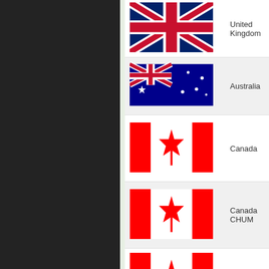[Figure (illustration): Dark left panel background]
| Flag | Country | URL |
| --- | --- | --- |
| [UK flag] | United Kingdom | //w... |
| [Australia flag] | Australia | //... |
| [Canada flag] | Canada | -/... |
| [Canada flag] | Canada CHUM | //e... |
| [Canada flag] | Canada |  |